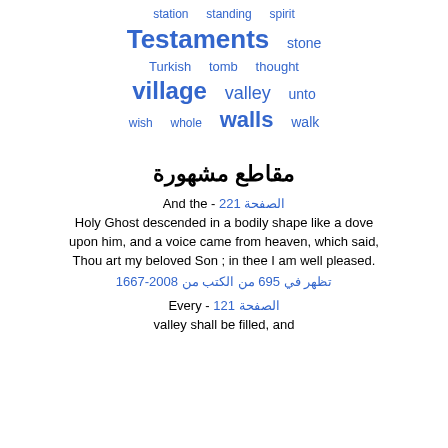station  standing  spirit
Testaments  stone
Turkish  tomb  thought
village  valley  unto
wish  whole  walls  walk
مقاطع مشهورة
الصفحة 122 - And the Holy Ghost descended in a bodily shape like a dove upon him, and a voice came from heaven, which said, Thou art my beloved Son ; in thee I am well pleased.
تظهر في 695 من الكتب من 1667-2008
الصفحة 121 - Every valley shall be filled, and